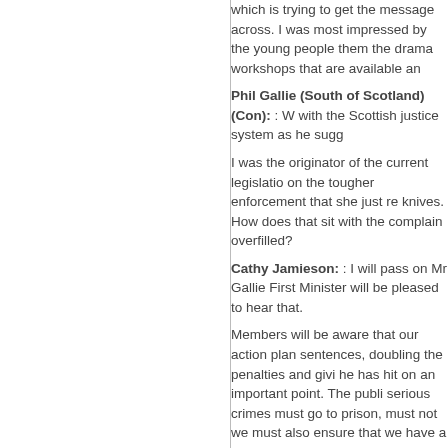which is trying to get the message across. I was most impressed by the young people themselves and the drama workshops that are available an
Phil Gallie (South of Scotland) (Con): : W with the Scottish justice system as he sugg
I was the originator of the current legislation on the tougher enforcement that she just re knives. How does that sit with the complain overfilled?
Cathy Jamieson: : I will pass on Mr Gallie First Minister will be pleased to hear that.
Members will be aware that our action plan sentences, doubling the penalties and givi he has hit on an important point. The publi serious crimes must go to prison, must not we must also ensure that we have a prison are currently in our prison system or who a non-custodial sentences. I hope to gain Ph
Drug and Drink Driving
back to top
4. Iain Smith (North East Fife) (LD): : To a offences recorded in Fife and nationwide in